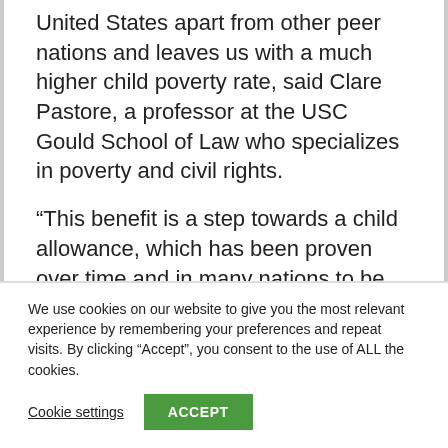United States apart from other peer nations and leaves us with a much higher child poverty rate, said Clare Pastore, a professor at the USC Gould School of Law who specializes in poverty and civil rights.
“This benefit is a step towards a child allowance, which has been proven over time and in many nations to be one of the most significant steps, if not the most significant step, in reducing child poverty,” Pastore said.
We use cookies on our website to give you the most relevant experience by remembering your preferences and repeat visits. By clicking “Accept”, you consent to the use of ALL the cookies.
Cookie settings
ACCEPT